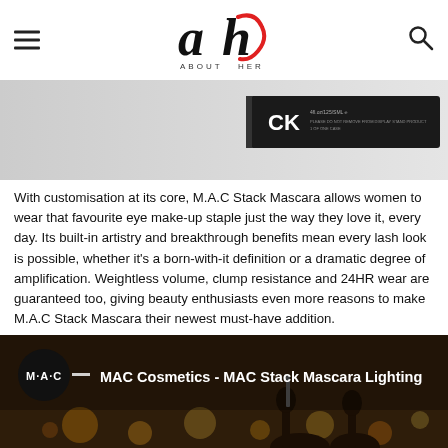About Her – site header with hamburger menu, logo, and search icon
[Figure (photo): M.A.C Stack Mascara product packaging box shown horizontally, black box with CK branding visible]
With customisation at its core, M.A.C Stack Mascara allows women to wear that favourite eye make-up staple just the way they love it, every day. Its built-in artistry and breakthrough benefits mean every lash look is possible, whether it's a born-with-it definition or a dramatic degree of amplification. Weightless volume, clump resistance and 24HR wear are guaranteed too, giving beauty enthusiasts even more reasons to make M.A.C Stack Mascara their newest must-have addition.
[Figure (screenshot): MAC Cosmetics - MAC Stack Mascara Lighting video thumbnail showing people in a dark venue with bokeh lights in background]